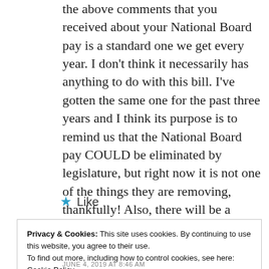the above comments that you received about your National Board pay is a standard one we get every year. I don't think it necessarily has anything to do with this bill. I've gotten the same one for the past three years and I think its purpose is to remind us that the National Board pay COULD be eliminated by legislature, but right now it is not one of the things they are removing, thankfully! Also, there will be a grandfather clause so you are not in jeopardy of losing that additional pay. That doesn't matter though, does it? It's about the principle of the whole situation. Again, thank you for making such a great point.
Like
Privacy & Cookies: This site uses cookies. By continuing to use this website, you agree to their use.
To find out more, including how to control cookies, see here: Cookie Policy
Close and accept
JUNE 4, 2019 AT 8:46 AM